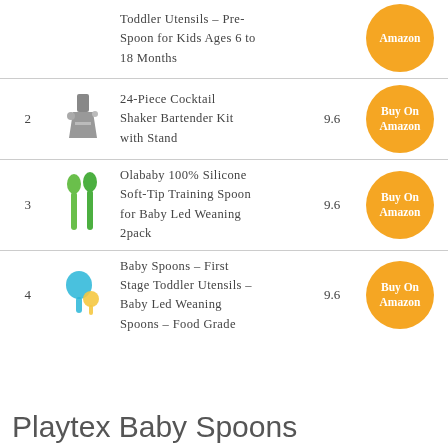| # | Image | Name | Score | Action |
| --- | --- | --- | --- | --- |
|  |  | Toddler Utensils – Pre-Spoon for Kids Ages 6 to 18 Months |  | Buy On Amazon |
| 2 |  | 24-Piece Cocktail Shaker Bartender Kit with Stand | 9.6 | Buy On Amazon |
| 3 |  | Olababy 100% Silicone Soft-Tip Training Spoon for Baby Led Weaning 2pack | 9.6 | Buy On Amazon |
| 4 |  | Baby Spoons – First Stage Toddler Utensils – Baby Led Weaning Spoons – Food Grade… | 9.6 | Buy On Amazon |
Playtex Baby Spoons